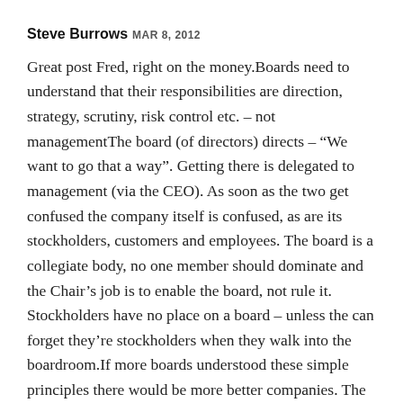Steve Burrows MAR 8, 2012
Great post Fred, right on the money.Boards need to understand that their responsibilities are direction, strategy, scrutiny, risk control etc. – not managementThe board (of directors) directs – “We want to go that a way”. Getting there is delegated to management (via the CEO). As soon as the two get confused the company itself is confused, as are its stockholders, customers and employees. The board is a collegiate body, no one member should dominate and the Chair’s job is to enable the board, not rule it. Stockholders have no place on a board – unless the can forget they’re stockholders when they walk into the boardroom.If more boards understood these simple principles there would be more better companies. The state of western economy shows clearly that too many boards have been doing the wrong things for the wrong reasons for much too long.